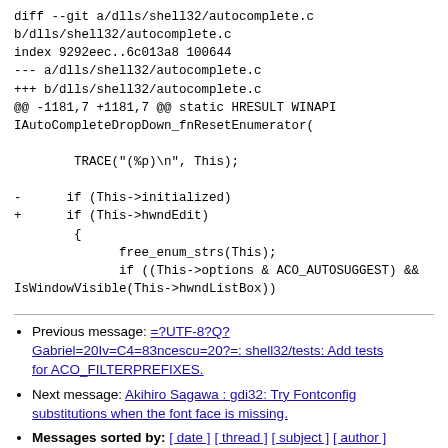diff --git a/dlls/shell32/autocomplete.c b/dlls/shell32/autocomplete.c
index 9292eec..6c013a8 100644
--- a/dlls/shell32/autocomplete.c
+++ b/dlls/shell32/autocomplete.c
@@ -1181,7 +1181,7 @@ static HRESULT WINAPI IAutoCompleteDropDown_fnResetEnumerator(

        TRACE("(%p)\n", This);

-      if (This->initialized)
+      if (This->hwndEdit)
        {
              free_enum_strs(This);
              if ((This->options & ACO_AUTOSUGGEST) &&
IsWindowVisible(This->hwndListBox))
Previous message: =?UTF-8?Q?Gabriel=20Iv=C4=83ncescu=20?=: shell32/tests: Add tests for ACO_FILTERPREFIXES.
Next message: Akihiro Sagawa : gdi32: Try Fontconfig substitutions when the font face is missing.
Messages sorted by: [ date ] [ thread ] [ subject ] [ author ]